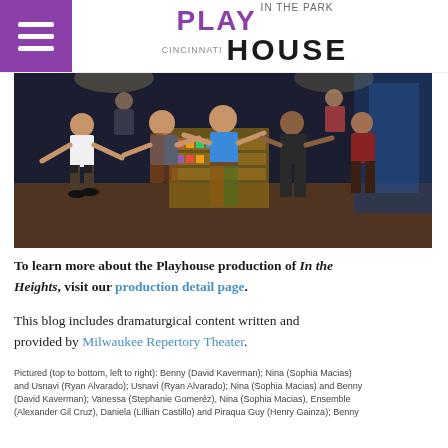Cincinnati Playhouse in the Park
[Figure (photo): Stage performance photo showing dancers/cast members performing a scene from 'In the Heights' at Cincinnati Playhouse in the Park]
To learn more about the Playhouse production of In the Heights, visit our production detail page.
This blog includes dramaturgical content written and provided by Milwaukee Repertory Theater.
Pictured (top to bottom, left to right): Benny (David Kaverman); Nina (Sophia Macias) and Usnavi (Ryan Alvarado); Usnavi (Ryan Alvarado); Nina (Sophia Macias) and Benny (David Kaverman); Vanessa (Stephanie Gomeréz), Nina (Sophia Macias), Ensemble (Alexander Gil Cruz), Daniela (Lillian Castillo) and Piraqua Guy (Henry Gainza); Benny